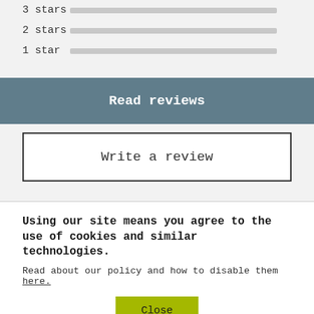[Figure (other): Star rating bars snippet: '3 stars', '2 stars', '1 star' each with a grey horizontal bar]
Read reviews
Write a review
Using our site means you agree to the use of cookies and similar technologies.
Read about our policy and how to disable them here.
Close